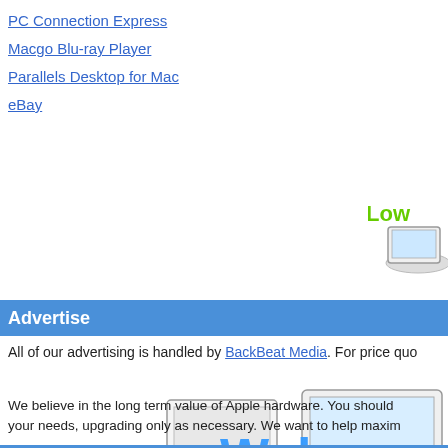PC Connection Express
Macgo Blu-ray Player
Parallels Desktop for Mac
eBay
[Figure (illustration): Low price badge with laptop graphic, partially cropped at right edge]
Advertise
All of our advertising is handled by BackBeat Media. For price quo…
[Figure (illustration): Welcome graphic with desktop computer and laptop illustration, large blue 'Welcome' text overlaid]
We believe in the long term value of Apple hardware. You should… your needs, upgrading only as necessary. We want to help maxim…